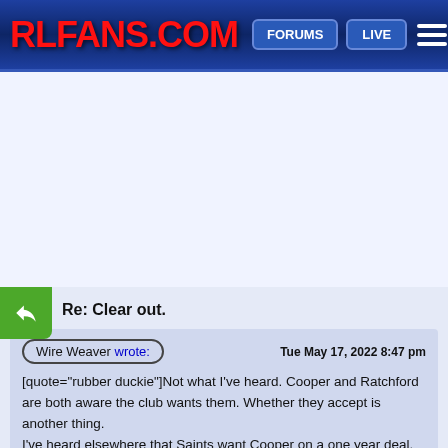RLFANS.COM — FORUMS | LIVE
[Figure (other): Advertisement/blank area]
Re: Clear out.
Wire Weaver wrote: — Tue May 17, 2022 8:47 pm
[quote="rubber duckie"]Not what I've heard. Cooper and Ratchford are both aware the club wants them. Whether they accept is another thing.
I've heard elsewhere that Saints want Cooper on a one year deal.